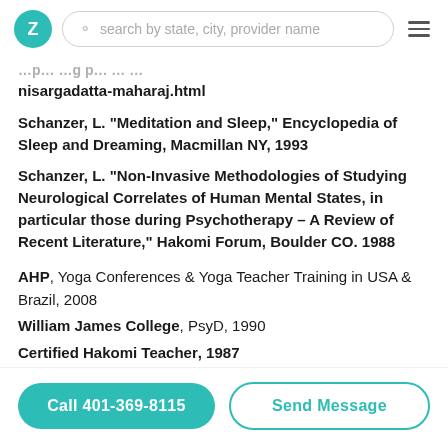Z | search by state, city, provider name
nisargadatta-maharaj.html
Schanzer, L. "Meditation and Sleep," Encyclopedia of Sleep and Dreaming, Macmillan NY, 1993
Schanzer, L. "Non-Invasive Methodologies of Studying Neurological Correlates of Human Mental States, in particular those during Psychotherapy – A Review of Recent Literature," Hakomi Forum, Boulder CO. 1988
AHP, Yoga Conferences & Yoga Teacher Training in USA & Brazil, 2008
William James College, PsyD, 1990
Certified Hakomi Teacher, 1987
Call 401-369-8115 | Send Message